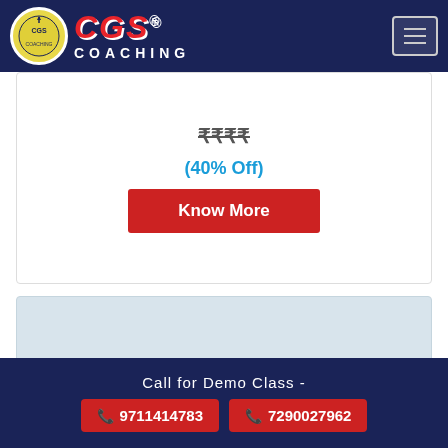CGS® COACHING
(40% Off)
Know More
[Figure (other): Light blue/grey card placeholder area]
Drop us a WhatsApp Message
Call for Demo Class - 9711414783 7290027962